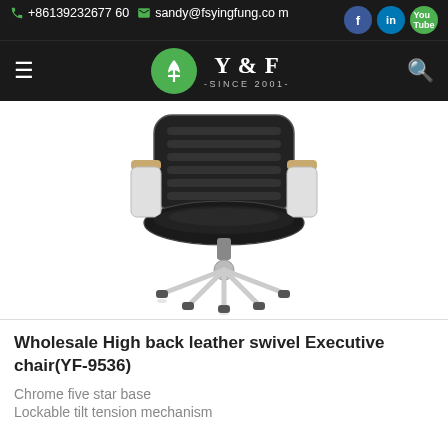+86139232677 60  sandy@fsyingfung.com
[Figure (logo): Y&F -SINCE 2001- green logo with navigation bar on dark background]
[Figure (photo): Black leather high-back executive swivel office chair with chrome five-star base and wooden armrests]
Wholesale High back leather swivel Executive chair(YF-9536)
Chrome five star base
Lockable tilt tension mechanism